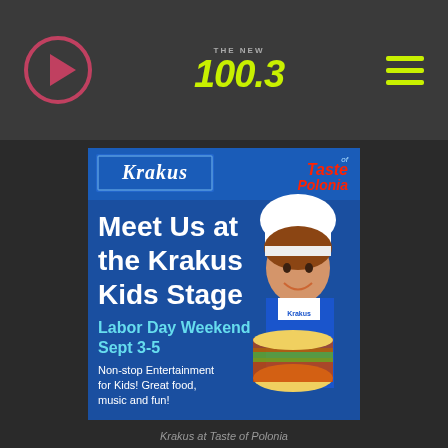THE NEW 100.3 radio station navigation bar with play button and hamburger menu
[Figure (illustration): Krakus brand advertisement for Taste of Polonia festival. Blue background with Krakus logo banner at top, Taste of Polonia logo in red/orange at top right, large white text reading 'Meet Us at the Krakus Kids Stage', teal text 'Labor Day Weekend Sept 3-5', white text 'Non-stop Entertainment for Kids! Great food, music and fun!', with a smiling girl wearing a chef hat and Krakus apron holding a large burger on the right side.]
Krakus at Taste of Polonia